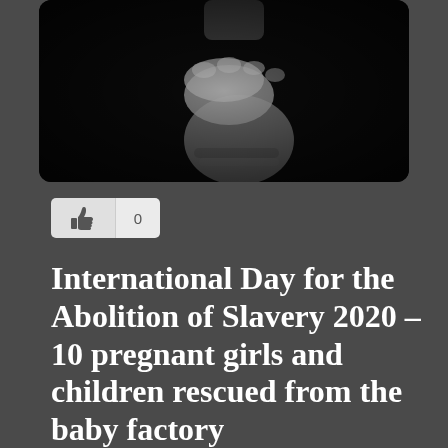[Figure (photo): Black and white close-up photograph of a bound fist/hand against a dark background, conveying themes of captivity or slavery]
[Figure (infographic): Like/thumbs-up button with count showing 0]
International Day for the Abolition of Slavery 2020 – 10 pregnant girls and children rescued from the baby factory